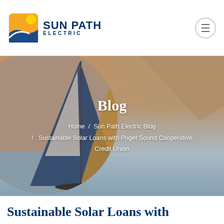Sun Path Electric
[Figure (screenshot): Hero banner with circular sailboat image on left, mountain and water background, showing 'Blog' page title with breadcrumb navigation: Home / Sun Path Electric Blog / Sustainable Solar Loans with Puget Sound Cooperative Credit Union]
Blog
Home / Sun Path Electric Blog / Sustainable Solar Loans with Puget Sound Cooperative Credit Union
Sustainable Solar Loans with